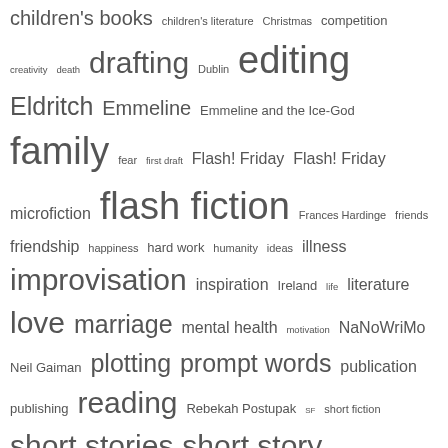children's books children's literature Christmas competition creativity death drafting Dublin editing Eldritch Emmeline Emmeline and the Ice-God family fear first draft Flash! Friday Flash! Friday microfiction flash fiction Frances Hardinge friends friendship happiness hard work humanity ideas illness improvisation inspiration Ireland life literature love marriage mental health motivation NaNoWriMo Neil Gaiman plotting prompt words publication publishing reading Rebekah Postupak SF short fiction short stories short story storytelling stress submissions The Eye of the North Tider using image prompts in flash fiction using image prompts in writing Wednesday Write-In WIP work writing writing a first draft writing competitions writing exercise writing exercises writing practice writing process writing prompts YA literature
CATEGORIES
Book Reviews